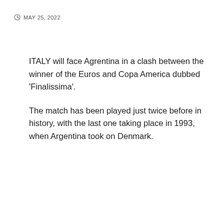MAY 25, 2022
ITALY will face Agrentina in a clash between the winner of the Euros and Copa America dubbed 'Finalissima'.
The match has been played just twice before in history, with the last one taking place in 1993, when Argentina took on Denmark.